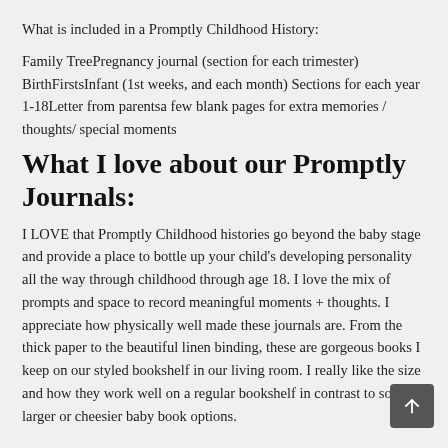What is included in a Promptly Childhood History:
Family TreePregnancy journal (section for each trimester) BirthFirstsInfant (1st weeks, and each month) Sections for each year 1-18Letter from parentsa few blank pages for extra memories / thoughts/ special moments
What I love about our Promptly Journals:
I LOVE that Promptly Childhood histories go beyond the baby stage and provide a place to bottle up your child's developing personality all the way through childhood through age 18. I love the mix of prompts and space to record meaningful moments + thoughts. I appreciate how physically well made these journals are. From the thick paper to the beautiful linen binding, these are gorgeous books I keep on our styled bookshelf in our living room. I really like the size and how they work well on a regular bookshelf in contrast to some larger or cheesier baby book options.